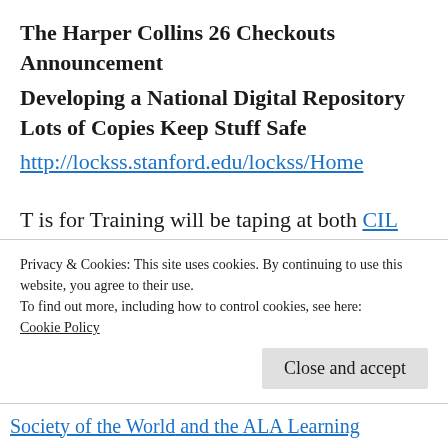The Harper Collins 26 Checkouts Announcement
Developing a National Digital Repository Lots of Copies Keep Stuff Safe
http://lockss.stanford.edu/lockss/Home
T is for Training will be taping at both CIL 2011 and at ACRL 2011 in the following month.
We are always thinking about: Jill's Book and Paul and Lori's Book
Privacy & Cookies: This site uses cookies. By continuing to use this website, you agree to their use.
To find out more, including how to control cookies, see here:
Cookie Policy
Society of the World and the ALA Learning